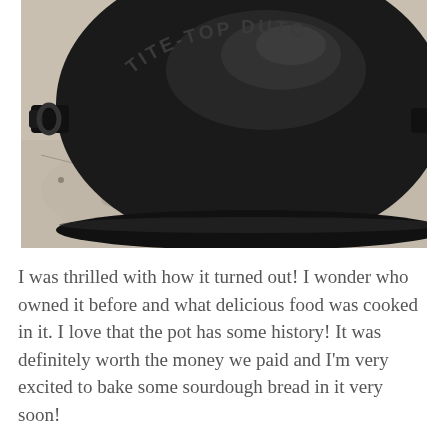[Figure (photo): A black cast iron Dutch oven lid viewed from above on a granite countertop. The lid is embossed with the text 'TITE-TOP DUTCH' (partially visible). The cast iron has handles on the sides and shows a shiny, well-seasoned dark surface.]
I was thrilled with how it turned out! I wonder who owned it before and what delicious food was cooked in it. I love that the pot has some history! It was definitely worth the money we paid and I'm very excited to bake some sourdough bread in it very soon!